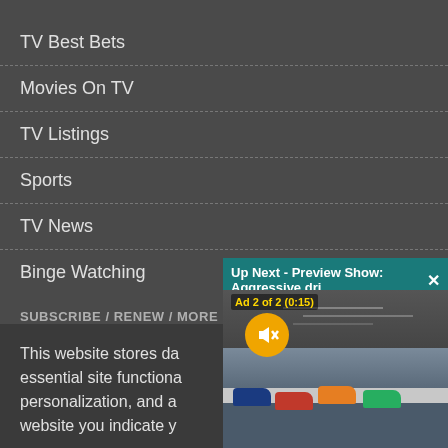TV Best Bets
Movies On TV
TV Listings
Sports
TV News
Binge Watching
SUBSCRIBE / RENEW / MORE
Give a Gift
Renew/Customer Service
This website stores da essential site functiona personalization, and a website you indicate y
[Figure (screenshot): Video ad overlay showing 'Up Next - Preview Show: Aggressive dri...' with a NASCAR racing scene and mute button. Ad 2 of 2 (0:15).]